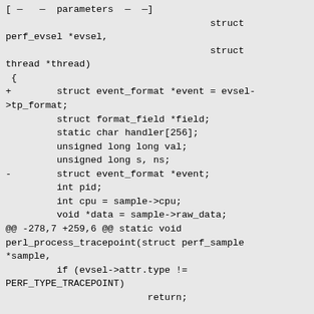[ ... parameters ... ]
                                    struct perf_evsel *evsel,
                                    struct thread *thread)
 {
+        struct event_format *event = evsel->tp_format;
         struct format_field *field;
         static char handler[256];
         unsigned long long val;
         unsigned long s, ns;
-        struct event_format *event;
         int pid;
         int cpu = sample->cpu;
         void *data = sample->raw_data;
@@ -278,7 +259,6 @@ static void perl_process_tracepoint(struct perf_sample *sample,
         if (evsel->attr.type !=
PERF_TYPE_TRACEPOINT)
                         return;

-        event = find_cache_event(evsel);
         if (!event)
                 die("ug! no event found for